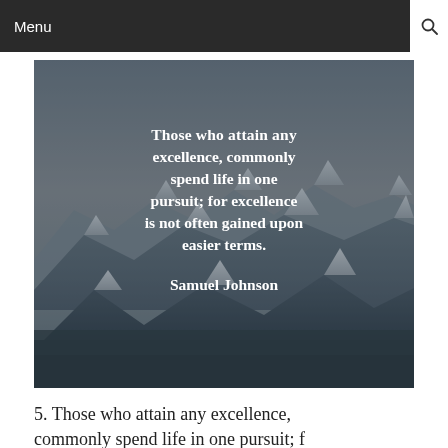Menu
[Figure (photo): Mountain landscape with snow-capped peaks and dark sky, overlaid with a quote: 'Those who attain any excellence, commonly spend life in one pursuit; for excellence is not often gained upon easier terms. Samuel Johnson']
5. Those who attain any excellence, commonly spend life in one pursuit; for